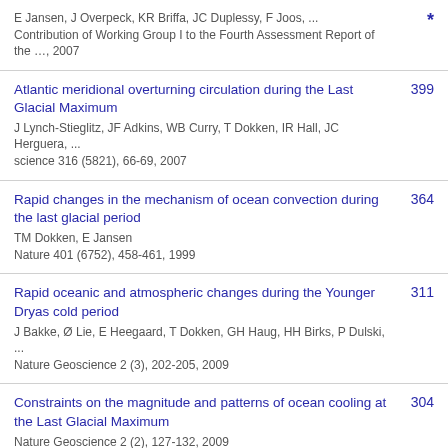E Jansen, J Overpeck, KR Briffa, JC Duplessy, F Joos, ...
Contribution of Working Group I to the Fourth Assessment Report of the …, 2007
Atlantic meridional overturning circulation during the Last Glacial Maximum
J Lynch-Stieglitz, JF Adkins, WB Curry, T Dokken, IR Hall, JC Herguera, ...
science 316 (5821), 66-69, 2007
Rapid changes in the mechanism of ocean convection during the last glacial period
TM Dokken, E Jansen
Nature 401 (6752), 458-461, 1999
Rapid oceanic and atmospheric changes during the Younger Dryas cold period
J Bakke, Ø Lie, E Heegaard, T Dokken, GH Haug, HH Birks, P Dulski, ...
Nature Geoscience 2 (3), 202-205, 2009
Constraints on the magnitude and patterns of ocean cooling at the Last Glacial Maximum
Nature Geoscience 2 (2), 127-132, 2009